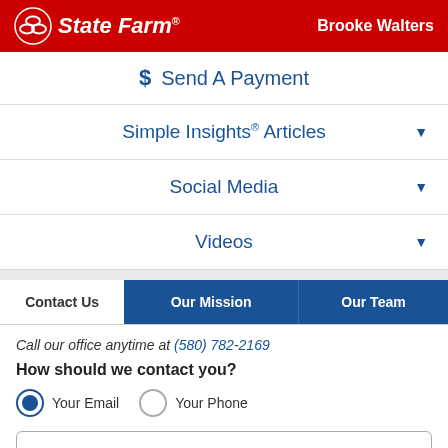State Farm® — Brooke Walters
Send A Payment
Simple Insights® Articles
Social Media
Videos
Contact Us | Our Mission | Our Team
Call our office anytime at (580) 782-2169
How should we contact you?
Your Email   Your Phone
Your First & Last Name